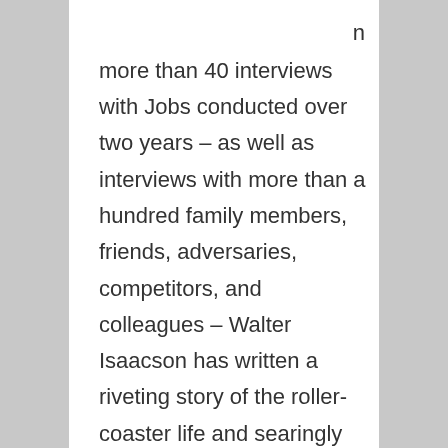n more than 40 interviews with Jobs conducted over two years – as well as interviews with more than a hundred family members, friends, adversaries, competitors, and colleagues – Walter Isaacson has written a riveting story of the roller-coaster life and searingly intense personality of a creative entrepreneur whose passion for perfection and ferocious drive